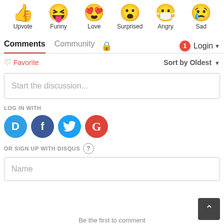[Figure (illustration): Six emoji reaction icons in a row: Upvote (thumbs up), Funny (laughing with tongue), Love (heart eyes), Surprised (open mouth), Angry (masked), Sad (crying)]
Upvote   Funny   Love   Surprised   Angry   Sad
Comments   Community   🔒   1   Login ▾
♡ Favorite   Sort by Oldest ▾
Start the discussion...
LOG IN WITH
[Figure (infographic): Four social login buttons: Disqus (blue circle with D), Facebook (dark blue circle with f), Twitter (light blue circle with bird), Google (red circle with G)]
OR SIGN UP WITH DISQUS ?
Name
Be the first to comment